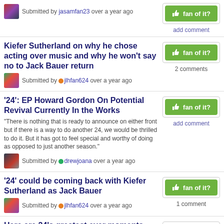Submitted by jasamfan23 over a year ago
[Figure (other): Fan of it? green thumbs-up button]
add comment
Kiefer Sutherland on why he chose acting over music and why he won’t say no to Jack Bauer return
[Figure (other): Fan of it? green thumbs-up button]
2 comments
Submitted by jlhfan624 over a year ago
’24’: EP Howard Gordon On Potential Revival Currently In the Works
“There is nothing that is ready to announce on either front but if there is a way to do another 24, we would be thrilled to do it. But it has got to feel special and worthy of doing as opposed to just another season.”
[Figure (other): Fan of it? green thumbs-up button]
add comment
Submitted by drewjoana over a year ago
’24’ could be coming back with Kiefer Sutherland as Jack Bauer
[Figure (other): Fan of it? green thumbs-up button]
1 comment
Submitted by jlhfan624 over a year ago
Here are 24’s greatest ever moments,